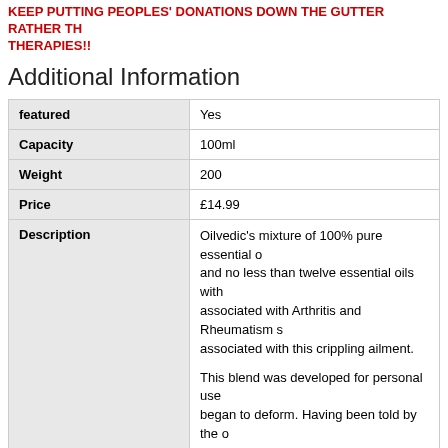KEEP PUTTING PEOPLES' DONATIONS DOWN THE GUTTER RATHER THAN FUNDING THERAPIES!!
Additional Information
|  |  |
| --- | --- |
| featured | Yes |
| Capacity | 100ml |
| Weight | 200 |
| Price | £14.99 |
| Description | Oilvedic's mixture of 100% pure essential oils and no less than twelve essential oils with associated with Arthritis and Rheumatism s associated with this crippling ailment.

This blend was developed for personal use began to deform. Having been told by the operate on the deformed joint on my right available on the NET to blend various esse

I am pleased to say that after using the ble by more than 80% with no more pains in m been repaired.

It COULD help you too.

Its about time The UK ARTHRITIS SOCI carry out research in using ESSENTIAL maladies rather than lining the pockets

THE UK ARTHRITIS SOCIETY TREATED ASKING FOR ASSISTANCE IN FUNDING |